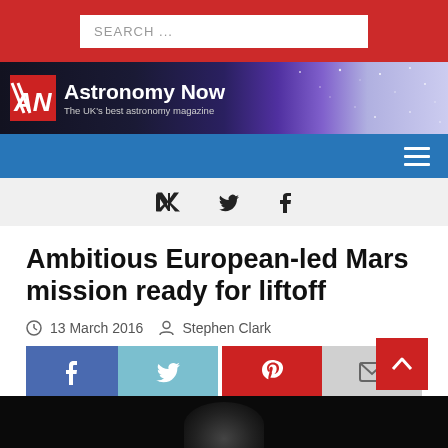SEARCH ...
[Figure (logo): Astronomy Now logo with AN monogram and tagline 'The UK's best astronomy magazine' on a space/nebula background]
Navigation bar with hamburger menu icon
Twitter and Facebook social icons row
Ambitious European-led Mars mission ready for liftoff
13 March 2016  Stephen Clark
[Figure (screenshot): Social share buttons: Facebook, Twitter, Pinterest, Email]
[Figure (photo): Dark image strip at bottom of page, appears to show a planetary body]